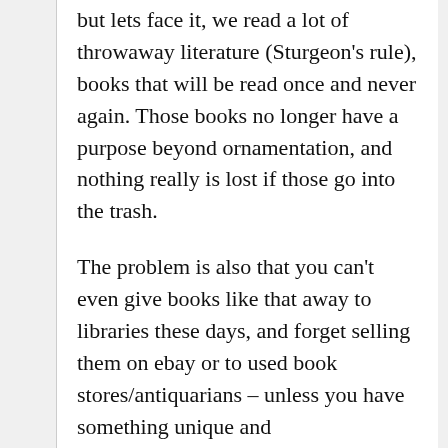but lets face it, we read a lot of throwaway literature (Sturgeon's rule), books that will be read once and never again. Those books no longer have a purpose beyond ornamentation, and nothing really is lost if those go into the trash.
The problem is also that you can't even give books like that away to libraries these days, and forget selling them on ebay or to used book stores/antiquarians – unless you have something unique and